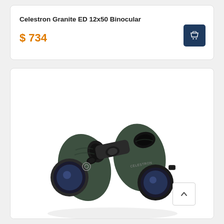Celestron Granite ED 12x50 Binocular
$ 734
[Figure (photo): Green and black Celestron Granite ED 12x50 binoculars photographed at an angle on a white background, showing both objective lenses and eyepieces.]